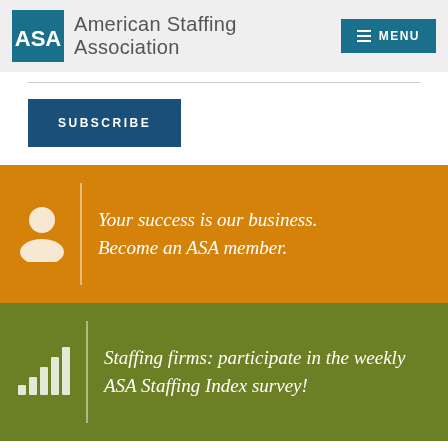American Staffing Association
SUBSCRIBE
Your success is our business. Become an ASA member.
Staffing firms: participate in the weekly ASA Staffing Index survey!